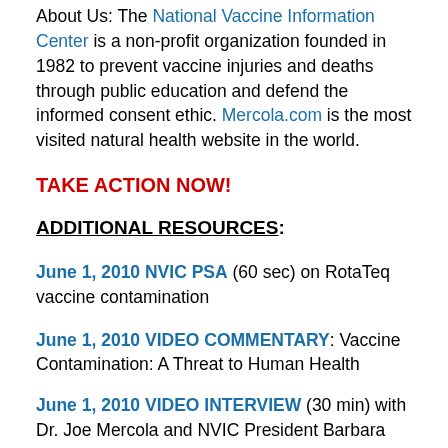About Us: The National Vaccine Information Center is a non-profit organization founded in 1982 to prevent vaccine injuries and deaths through public education and defend the informed consent ethic. Mercola.com is the most visited natural health website in the world.
TAKE ACTION NOW!
ADDITIONAL RESOURCES:
June 1, 2010 NVIC PSA (60 sec) on RotaTeq vaccine contamination
June 1, 2010 VIDEO COMMENTARY: Vaccine Contamination: A Threat to Human Health
June 1, 2010 VIDEO INTERVIEW (30 min) with Dr. Joe Mercola and NVIC President Barbara Loe Fisher on RotaTeq Vaccine Contamination.
NVIC Information on Rotavirus & Rotavirus Vaccine